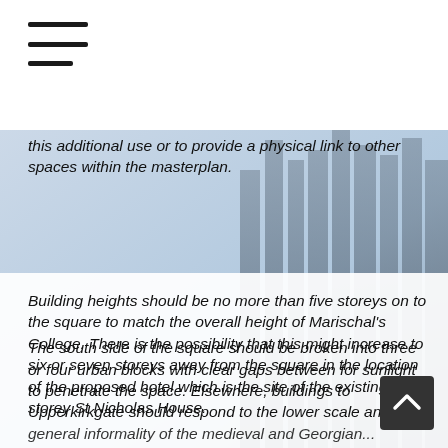[Figure (other): Hamburger/navigation menu icon with three horizontal lines in the top left corner]
this additional use or to provide a physical link to other spaces within the masterplan.
Building heights should be no more than five storeys on to the square to match the overall height of Marischal's College. There is the possibility that this might increase to six or seven storeys away from the square in the location of the proposed hotel which is the site of the existing 14 storey St Nicholas House.
The south side of the square should be broken into three or four urban blocks with clear gaps between for sunlight to penetrate the space. Elsewhere, buildings to Upperkirkgate should respond to the lower scale and general informality of the medieval and Georgian...